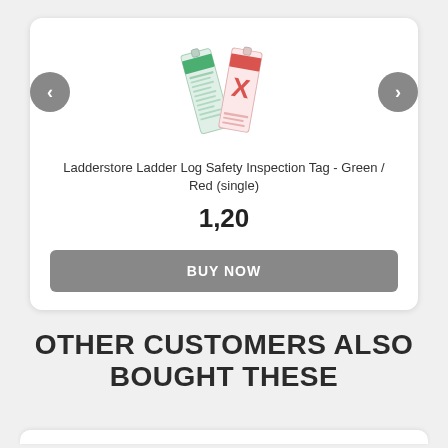[Figure (photo): Two ladder inspection tags - one green and one red with an X, shown at an angle]
Ladderstore Ladder Log Safety Inspection Tag - Green / Red (single)
1,20
BUY NOW
OTHER CUSTOMERS ALSO BOUGHT THESE